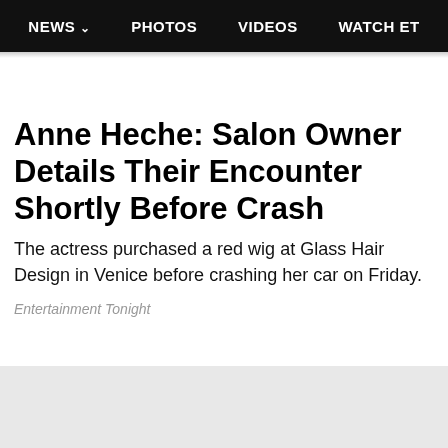NEWS  PHOTOS  VIDEOS  WATCH ET
Anne Heche: Salon Owner Details Their Encounter Shortly Before Crash
The actress purchased a red wig at Glass Hair Design in Venice before crashing her car on Friday.
Entertainment Tonight